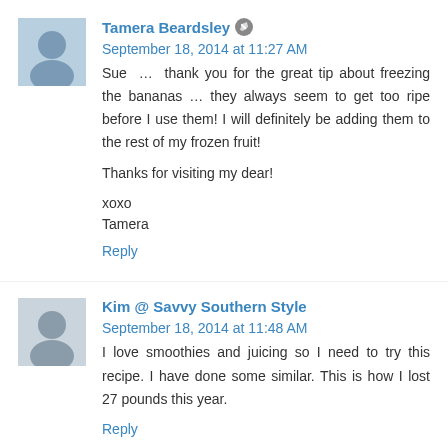Tamera Beardsley · September 18, 2014 at 11:27 AM
Sue … thank you for the great tip about freezing the bananas … they always seem to get too ripe before I use them! I will definitely be adding them to the rest of my frozen fruit!

Thanks for visiting my dear!

xoxo
Tamera
Reply
Kim @ Savvy Southern Style September 18, 2014 at 11:48 AM
I love smoothies and juicing so I need to try this recipe. I have done some similar. This is how I lost 27 pounds this year.
Reply